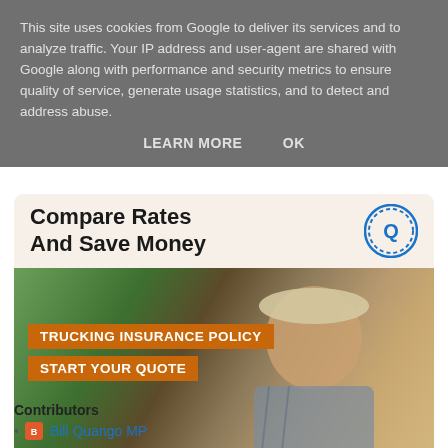This site uses cookies from Google to deliver its services and to analyze traffic. Your IP address and user-agent are shared with Google along with performance and security metrics to ensure quality of service, generate usage statistics, and to detect and address abuse.
LEARN MORE   OK
[Figure (infographic): Insurance advertisement banner: 'Compare Rates And Save Money' with a logo icon, image of a smiling trucker with orange labels 'TRUCKING INSURANCE POLICY' and 'START YOUR QUOTE', and a dark bottom bar with 'Get Quote' and arrow.]
Contributors
Bill Quango MP